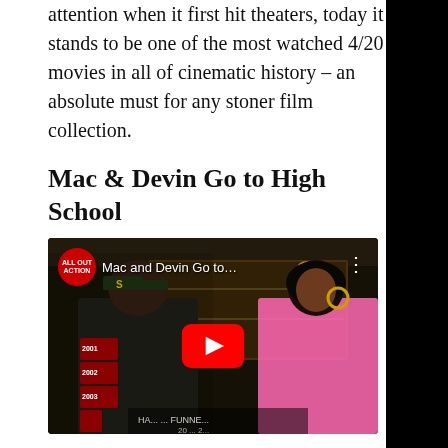attention when it first hit theaters, today it stands to be one of the most watched 4/20 movies in all of cinematic history – an absolute must for any stoner film collection.
Mac & Devin Go to High School
[Figure (screenshot): YouTube video embed showing 'Mac and Devin Go to...' with two people standing in a high school hallway in front of a trophy display case. Person on left is a tall man wearing a baseball cap and letterman jacket with year patches. Person on right is a woman in a pink top. YouTube play button visible in center.]